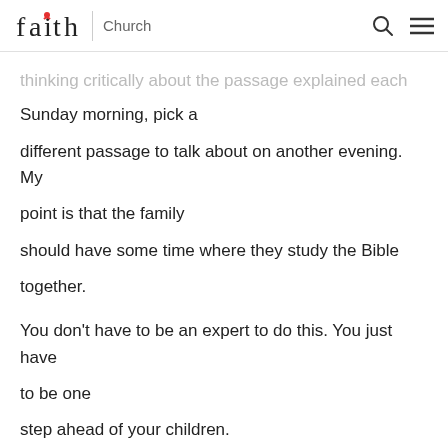faith | Church
thinking critically about the passage explained each Sunday morning, pick a different passage to talk about on another evening. My point is that the family should have some time where they study the Bible together.
You don't have to be an expert to do this. You just have to be one step ahead of your children.
#3. Encourage a Love for the